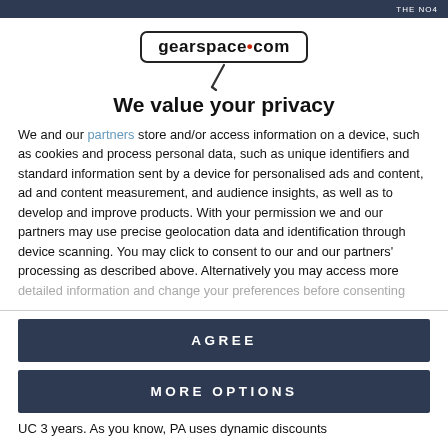THE NO4
[Figure (logo): gearspace.com logo in a rounded rectangle border with a microphone cable graphic below]
We value your privacy
We and our partners store and/or access information on a device, such as cookies and process personal data, such as unique identifiers and standard information sent by a device for personalised ads and content, ad and content measurement, and audience insights, as well as to develop and improve products. With your permission we and our partners may use precise geolocation data and identification through device scanning. You may click to consent to our and our partners' processing as described above. Alternatively you may access more detailed information and change your preferences before consenting
AGREE
MORE OPTIONS
UC 3 years. As you know, PA uses dynamic discounts